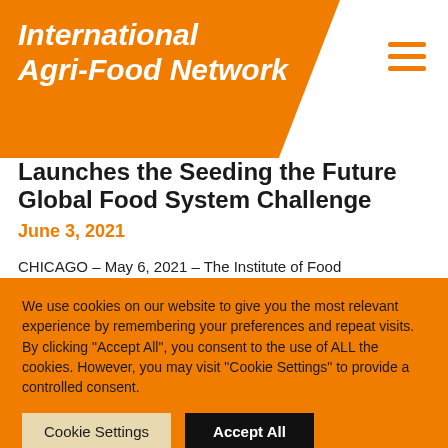International Agri-Food Network
Launches the Seeding the Future Global Food System Challenge
June 3, 2021
CHICAGO – May 6, 2021 – The Institute of Food Technologists (IFT) today launched the first annual Seeding The Future Global Food Systems
We use cookies on our website to give you the most relevant experience by remembering your preferences and repeat visits. By clicking "Accept All", you consent to the use of ALL the cookies. However, you may visit "Cookie Settings" to provide a controlled consent.